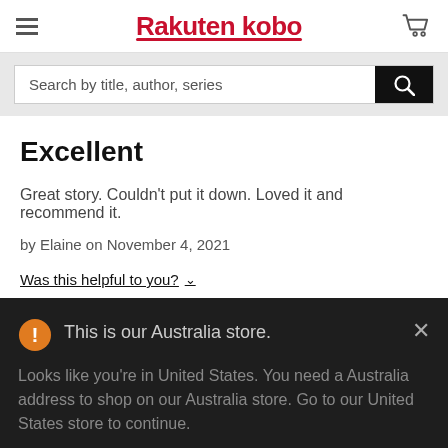Rakuten kobo
Search by title, author, series
Excellent
Great story. Couldn't put it down. Loved it and recommend it.
by Elaine on November 4, 2021
Was this helpful to you?
This is our Australia store.
Looks like you're in United States. You need a Australia address to shop on our Australia store. Go to our United States store to continue.
Go to United States Store
Choose another store